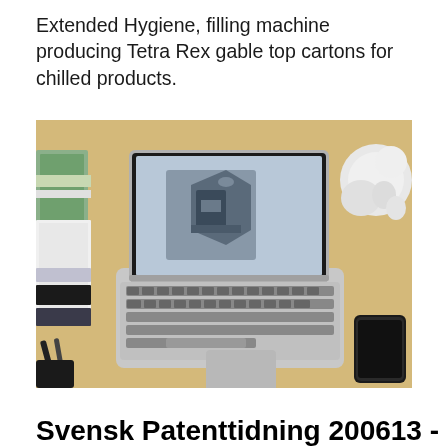Extended Hygiene, filling machine producing Tetra Rex gable top cartons for chilled products.
[Figure (photo): Overhead view of an open MacBook laptop on a wooden desk, with a 3D CAD model visible on screen, alongside books/papers on the left, a white desk lamp in the upper right, a smartphone on the right, and pens in the lower left.]
Svensk Patenttidning 200613 -